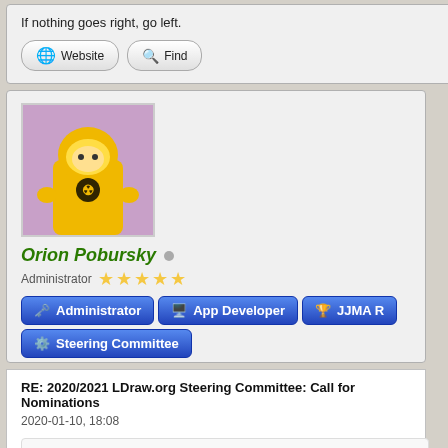If nothing goes right, go left.
Website  Find
Orion Pobursky
Administrator ★★★★★
Administrator  App Developer  JJMA R...  Steering Committee
RE: 2020/2021 LDraw.org Steering Committee: Call for Nominations
2020-01-10, 18:08
Johann Eisner Wrote: →